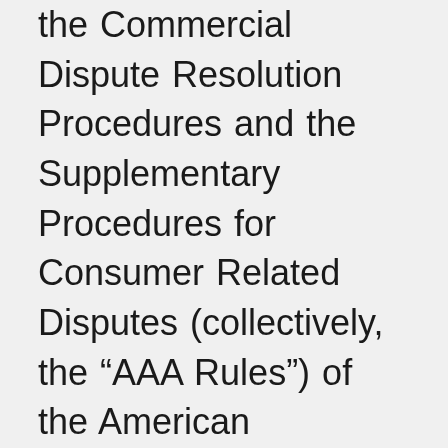the Commercial Dispute Resolution Procedures and the Supplementary Procedures for Consumer Related Disputes (collectively, the “AAA Rules”) of the American Arbitration Association (the “AAA”), as modified by these Terms, and will be administered by the AAA. The AAA Rules and filing fees are available to direct